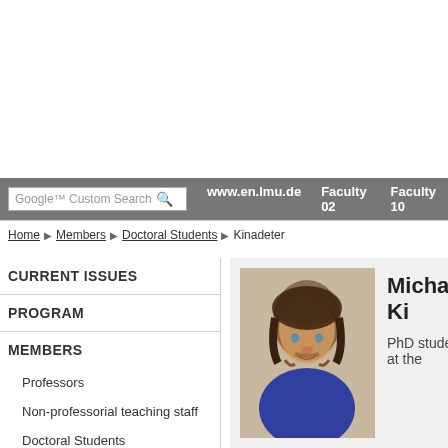Google™ Custom Search | www.en.lmu.de | Faculty 02 | Faculty 10
Home › Members › Doctoral Students › Kinadeter
CURRENT ISSUES
PROGRAM
MEMBERS
Professors
Non-professorial teaching staff
Doctoral Students
Alumni / Alumnae
COURSES
[Figure (photo): Headshot photo of Michael Kinadeter, a young man with curly brown hair and beard, wearing a blue shirt]
Michael Ki
PhD student at the
Responsibilities